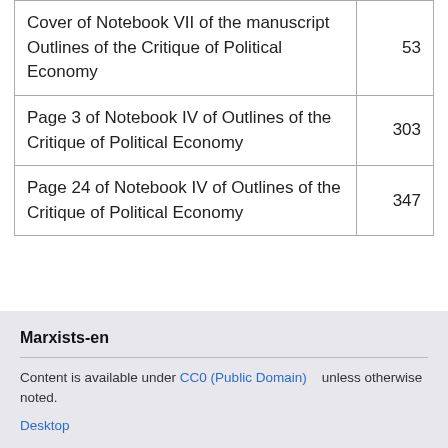|  |  |
| --- | --- |
| Cover of Notebook VII of the manuscript Outlines of the Critique of Political Economy | 53 |
| Page 3 of Notebook IV of Outlines of the Critique of Political Economy | 303 |
| Page 24 of Notebook IV of Outlines of the Critique of Political Economy | 347 |
Marxists-en
Content is available under CC0 (Public Domain) unless otherwise noted.
Desktop